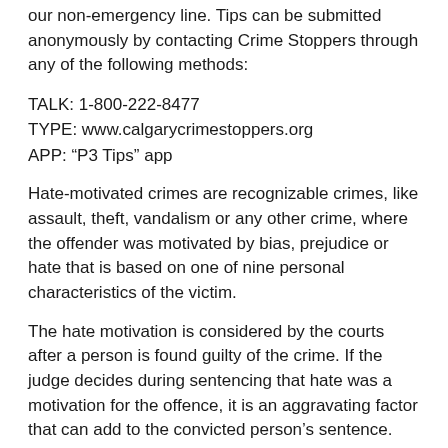our non-emergency line. Tips can be submitted anonymously by contacting Crime Stoppers through any of the following methods:
TALK: 1-800-222-8477
TYPE: www.calgarycrimestoppers.org
APP: “P3 Tips” app
Hate-motivated crimes are recognizable crimes, like assault, theft, vandalism or any other crime, where the offender was motivated by bias, prejudice or hate that is based on one of nine personal characteristics of the victim.
The hate motivation is considered by the courts after a person is found guilty of the crime. If the judge decides during sentencing that hate was a motivation for the offence, it is an aggravating factor that can add to the convicted person’s sentence.